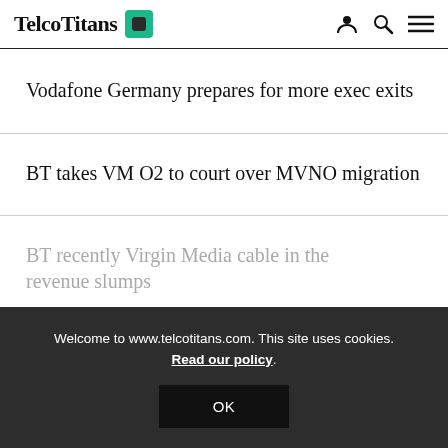TelcoTitans
Vodafone Germany prepares for more exec exits
BT takes VM O2 to court over MVNO migration
Welcome to www.telcotitans.com. This site uses cookies. Read our policy.
OK
BT recently Virgin Media cable in the revenue slumps